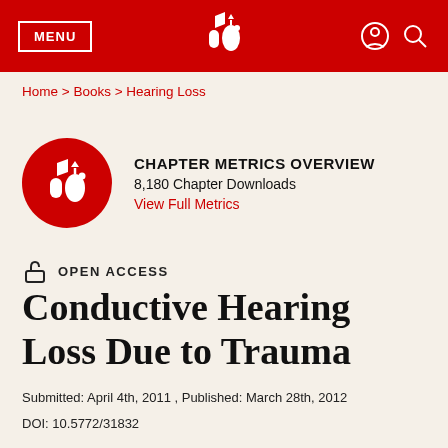MENU | [logo] | [user icon] [search icon]
Home > Books > Hearing Loss
CHAPTER METRICS OVERVIEW
8,180 Chapter Downloads
View Full Metrics
OPEN ACCESS
Conductive Hearing Loss Due to Trauma
Submitted: April 4th, 2011 , Published: March 28th, 2012
DOI: 10.5772/31832